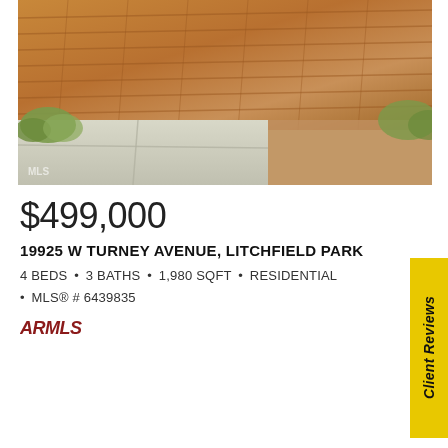[Figure (photo): Aerial/ground view of a brick driveway or patio with warm terracotta and tan pavers, with concrete pathway and desert landscaping visible]
$499,000
19925 W TURNEY AVENUE, LITCHFIELD PARK
4 BEDS • 3 BATHS • 1,980 SQFT • RESIDENTIAL • MLS® # 6439835
[Figure (logo): ARMLS logo in dark red italic bold text]
Client Reviews